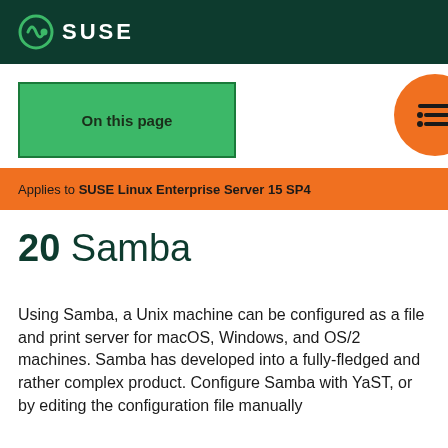SUSE
[Figure (other): On this page navigation button (green box)]
[Figure (other): Orange circle menu icon button]
Applies to SUSE Linux Enterprise Server 15 SP4
20 Samba
Using Samba, a Unix machine can be configured as a file and print server for macOS, Windows, and OS/2 machines. Samba has developed into a fully-fledged and rather complex product. Configure Samba with YaST, or by editing the configuration file manually